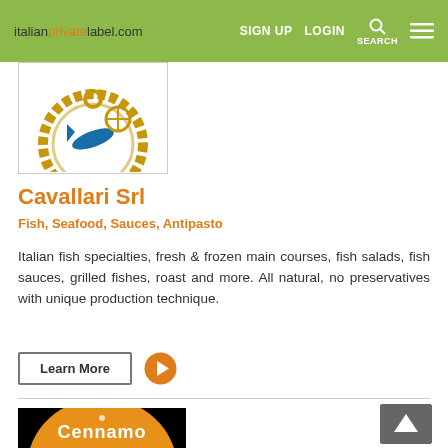italianprivatelabel.com  SIGN UP  LOGIN  SEARCH
[Figure (logo): Cavallari Srl company logo: circular emblem with rope border and fish/anchor design in blue and gold]
Cavallari Srl
Fish, Seafood, Sauces, Antipasto
Italian fish specialties, fresh & frozen main courses, fish salads, fish sauces, grilled fishes, roast and more. All natural, no preservatives with unique production technique.
Learn More
[Figure (logo): Cennamo brand logo: orange circular background with white curved text 'Cennamo']
[Figure (other): Back to top arrow button (dark grey)]